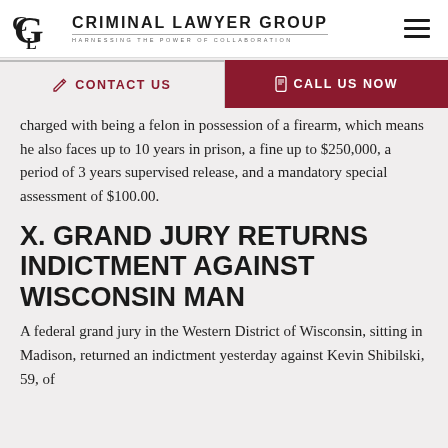CRIMINAL LAWYER GROUP — HARNESSING THE POWER OF COLLABORATION
[Figure (logo): Criminal Lawyer Group logo with CLG initials and tagline 'Harnessing the Power of Collaboration']
CONTACT US | CALL US NOW (navigation bar)
charged with being a felon in possession of a firearm, which means he also faces up to 10 years in prison, a fine up to $250,000, a period of 3 years supervised release, and a mandatory special assessment of $100.00.
X. GRAND JURY RETURNS INDICTMENT AGAINST WISCONSIN MAN
A federal grand jury in the Western District of Wisconsin, sitting in Madison, returned an indictment yesterday against Kevin Shibilski, 59, of